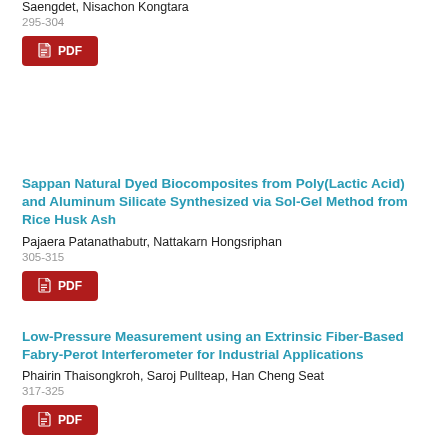Saengdet, Nisachon Kongtara
295-304
[Figure (other): PDF download button]
Sappan Natural Dyed Biocomposites from Poly(Lactic Acid) and Aluminum Silicate Synthesized via Sol-Gel Method from Rice Husk Ash
Pajaera Patanathabutr, Nattakarn Hongsriphan
305-315
[Figure (other): PDF download button]
Low-Pressure Measurement using an Extrinsic Fiber-Based Fabry-Perot Interferometer for Industrial Applications
Phairin Thaisongkroh, Saroj Pullteap, Han Cheng Seat
317-325
[Figure (other): PDF download button]